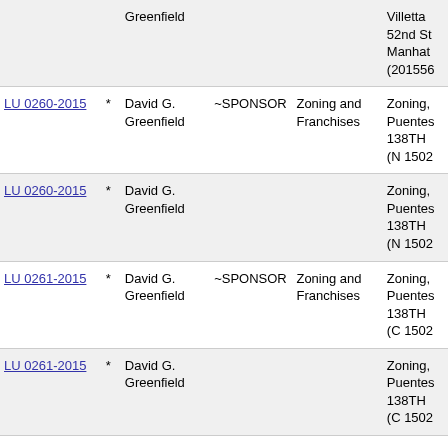| File |  | Council Members | Role | Committee | Description |
| --- | --- | --- | --- | --- | --- |
|  |  | Greenfield |  |  | Villetta 52nd St Manhat (201556 |
| LU 0260-2015 | * | David G. Greenfield | ~SPONSOR | Zoning and Franchises | Zoning, Puentes 138TH (N 1502 |
| LU 0260-2015 | * | David G. Greenfield |  |  | Zoning, Puentes 138TH (N 1502 |
| LU 0261-2015 | * | David G. Greenfield | ~SPONSOR | Zoning and Franchises | Zoning, Puentes 138TH (C 1502 |
| LU 0261-2015 | * | David G. Greenfield |  |  | Zoning, Puentes 138TH (C 1502 |
| LU 0262-2015 | * | David G. Greenfield | ~SPONSOR | Zoning and Franchises | Zoning, Puentes 138TH (C 1502 |
| LU 0262-2015 | * | David G. |  |  | Zoning, |